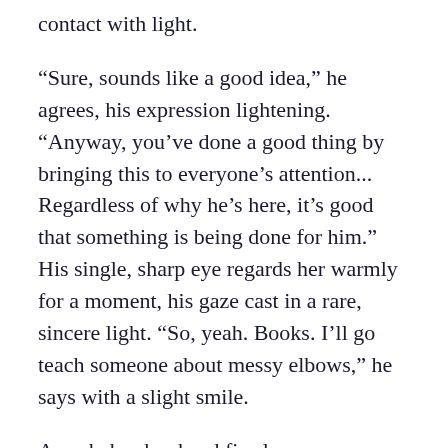contact with light.
“Sure, sounds like a good idea,” he agrees, his expression lightening. “Anyway, you’ve done a good thing by bringing this to everyone’s attention... Regardless of why he’s here, it’s good that something is being done for him.” His single, sharp eye regards her warmly for a moment, his gaze cast in a rare, sincere light. “So, yeah. Books. I’ll go teach someone about messy elbows,” he says with a slight smile.
Ane shakes her head firmly.
“No, it’s all Nelea. She’s been bringing him food since he got here. I only went to see him after she came to my wagon to see if I could get him to open